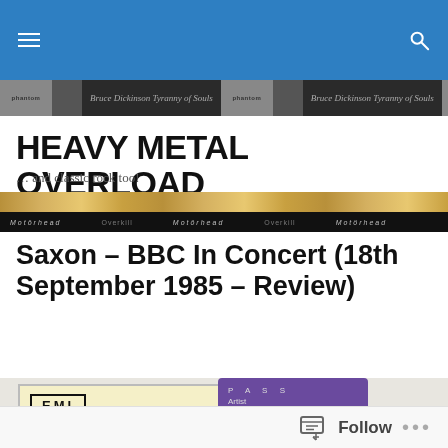Heavy Metal Overload – navigation header bar
[Figure (photo): Decorative album cover strip showing Bruce Dickinson 'Tyranny of Souls' repeated]
HEAVY METAL OVERLOAD
… and classic rock too!
[Figure (photo): Decorative album cover strip showing Motörhead and other albums repeated]
Saxon – BBC In Concert (18th September 1985 – Review)
[Figure (photo): Photo showing an EMI recording session card for BBC In Concert, 18th September 1985, and a purple backstage pass for Saxon at Hammersmith Odeon dated 18.9.85]
Follow